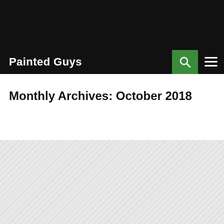Painted Guys
Monthly Archives: October 2018
[Figure (other): Diagonal striped grey placeholder area below the archive heading]